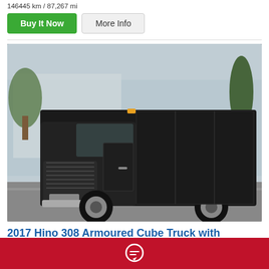146445 km / 87,267 mi
Buy It Now   More Info
[Figure (photo): Black 2017 Hino 308 Armoured Cube Truck parked in front of a building numbered 610, surrounded by trees. The truck is dark/black coloured with chrome bumper and grille.]
2017 Hino 308 Armoured Cube Truck with